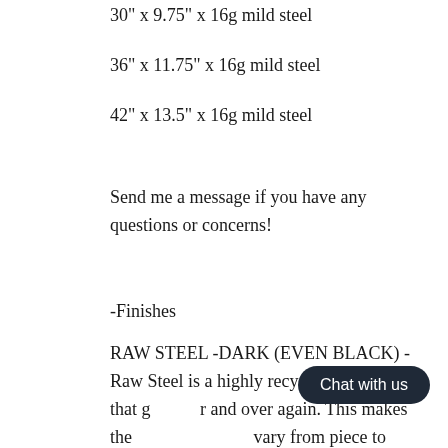30" x 9.75" x 16g mild steel
36" x 11.75" x 16g mild steel
42" x 13.5" x 16g mild steel
Send me a message if you have any questions or concerns!
-Finishes
RAW STEEL -DARK (EVEN BLACK) - Raw Steel is a highly recyclable material that g r and over again. This makes the vary from piece to piece, to sometimes even black.